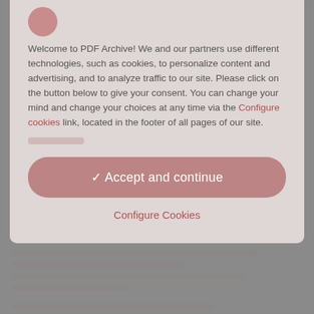[Figure (screenshot): Cookie consent modal dialog overlay on PDF Archive website. Contains a logo circle at top, consent text, an 'Accept and continue' button, and a 'Configure Cookies' link. Background shows a blurred webpage.]
Welcome to PDF Archive! We and our partners use different technologies, such as cookies, to personalize content and advertising, and to analyze traffic to our site. Please click on the button below to give your consent. You can change your mind and change your choices at any time via the Configure cookies link, located in the footer of all pages of our site.
✓ Accept and continue
Configure Cookies